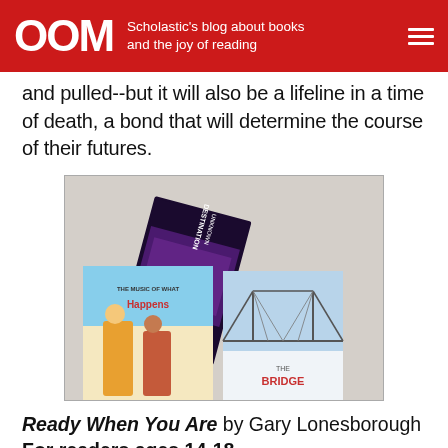OOM Scholastic's blog about books and the joy of reading
and pulled--but it will also be a lifeline in a time of death, a bond that will determine the course of their futures.
[Figure (photo): Three book covers arranged on a light textured surface: 'Destination Unknown' (dark cover with concert scene), 'The Music of What Happens' by Bill Konigsberg (illustrated cover with two young men), and 'The Bridge' (illustrated cover with suspension bridge).]
Ready When You Are by Gary Lonesborough
For readers ages 14-18